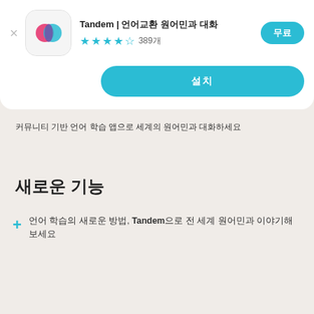Tandem | 언어교환 원어민과 대화
★★★★☆ 389개
무료
설치
커뮤니티 기반 언어 학습 앱으로 세계의 원어민과 대화하세요
새로운 기능
언어 학습의 새로운 방법, Tandem으로 전 세계 원어민과 이야기해보세요